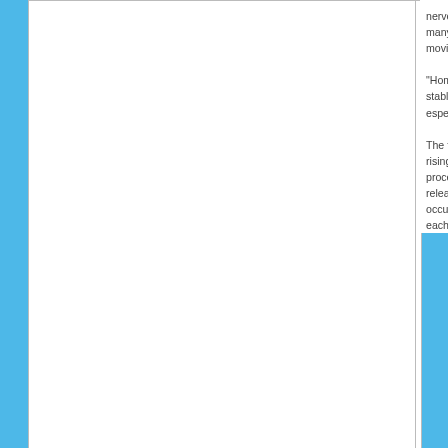[Figure (other): White rectangular box/image placeholder on left column]
nervous system, many other processes to moving and sha...
“Homeostasis is stable equilibriu especially as m...
The female bod rising and drop processes to p release the eg occur. The time each month is k...
known as womb cleanse, moon days, aunt flow, crimson tide, the rag, m... the consideration of menstruation as a “periodic illness”; it is now better u... monthly cleanse rather than an illness, so some people prefer not to use...
A healthy monthly cleanse is considered to be approximately 4 days of fr... before and after, dark/brown or stagnant blood, large clots, etc. are all si... following are ways you can more fully support your monthly cleanse. The... regarding the physiological functions of the body and can also require a l... I am here to support you.
REST